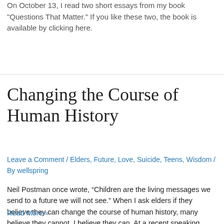On October 13, I read two short essays from my book "Questions That Matter." If you like these two, the book is available by clicking here.
Changing the Course of Human History
Leave a Comment / Elders, Future, Love, Suicide, Teens, Wisdom / By wellspring
Neil Postman once wrote, “Children are the living messages we send to a future we will not see.” When I ask elders if they believe they can change the course of human history, many believe they cannot. I believe they can. At a recent speaking engagement, an elderly gentleman—heavyset, gruff and wearing a baseball cap—pulled …
Read More »